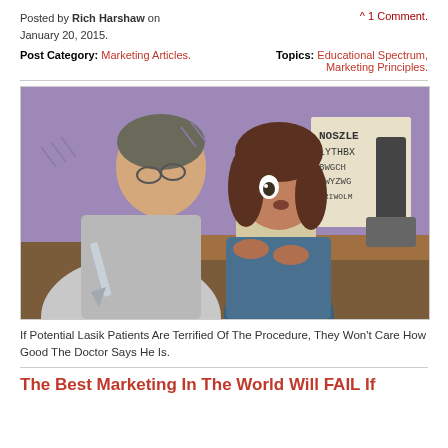Posted by Rich Harshaw on January 20, 2015. ^ 1 Comment.
Post Category: Marketing Articles. Topics: Educational Spectrum, Marketing Principles.
[Figure (illustration): Cartoon illustration of a doctor holding a scalpel/knife facing a terrified female patient sitting in an eye exam chair, with an eye chart on the purple wall behind them.]
If Potential Lasik Patients Are Terrified Of The Procedure, They Won't Care How Good The Doctor Says He Is.
The Best Marketing In The World Will FAIL If